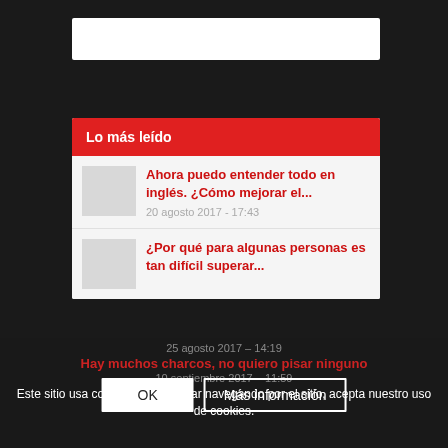[Figure (screenshot): White search/navigation bar at top of mobile browser]
Lo más leído
Ahora puedo entender todo en inglés. ¿Cómo mejorar el...
20 agosto 2017 - 17:43
¿Por qué para algunas personas es tan difícil superar...
25 agosto 2017 – 14:19
Hay muchos charcos, no quiero pisar ninguno
10 septiembre 2017 – 11:59
Este sitio usa cookies. Al continuar navegando por el sitio, acepta nuestro uso de cookies.
OK
Más información